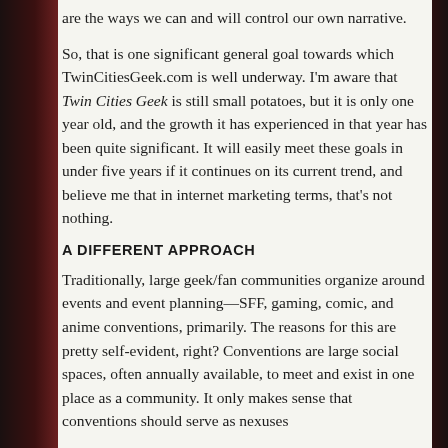are the ways we can and will control our own narrative.
So, that is one significant general goal towards which TwinCitiesGeek.com is well underway. I'm aware that Twin Cities Geek is still small potatoes, but it is only one year old, and the growth it has experienced in that year has been quite significant. It will easily meet these goals in under five years if it continues on its current trend, and believe me that in internet marketing terms, that's not nothing.
A DIFFERENT APPROACH
Traditionally, large geek/fan communities organize around events and event planning—SFF, gaming, comic, and anime conventions, primarily. The reasons for this are pretty self-evident, right? Conventions are large social spaces, often annually available, to meet and exist in one place as a community. It only makes sense that conventions should serve as nexuses